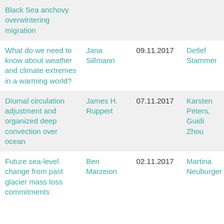| Topic | Presenter | Date | Contact |
| --- | --- | --- | --- |
| Black Sea anchovy overwintering migration |  |  |  |
| What do we need to know about weather and climate extremes in a warming world? | Jana Sillmann | 09.11.2017 | Detlef Stammer |
| Diurnal circulation adjustment and organized deep convection over ocean | James H. Ruppert | 07.11.2017 | Karsten Peters, Guidi Zhou |
| Future sea-level change from past glacier mass loss commitments | Ben Marzeion | 02.11.2017 | Martina Neuburger |